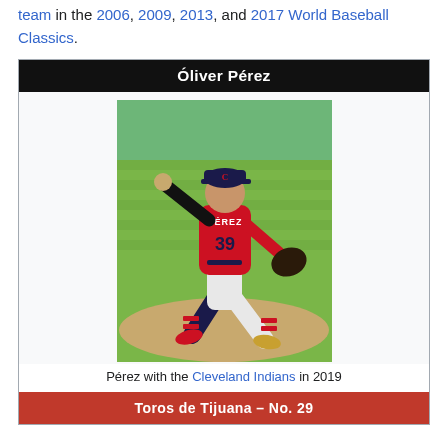team in the 2006, 2009, 2013, and 2017 World Baseball Classics.
[Figure (photo): Infobox for Óliver Pérez showing him pitching for the Cleveland Indians wearing jersey number 39 in 2019. Bottom section shows 'Toros de Tijuana – No. 29' in red.]
Pérez with the Cleveland Indians in 2019